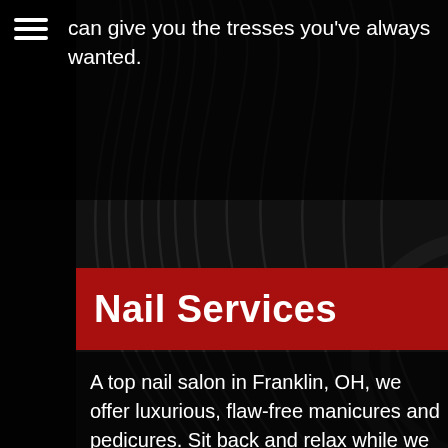can give you the tresses you've always wanted.
Nail Services
A top nail salon in Franklin, OH, we offer luxurious, flaw-free manicures and pedicures. Sit back and relax while we pamper your fingers and footsies. We off over 30 years of experience as well as a nail tech who is certified as an Advanced Manicurist through the state of Ohio. Your hands are in good hands!